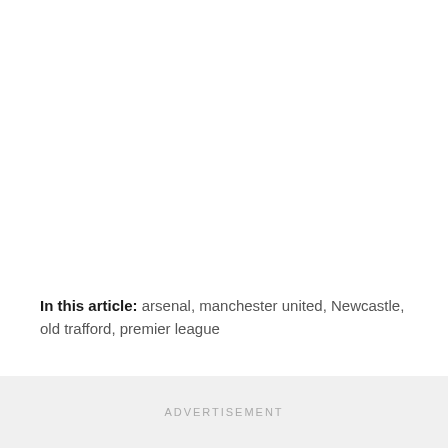In this article: arsenal, manchester united, Newcastle, old trafford, premier league
ADVERTISEMENT